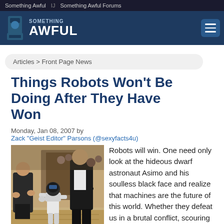Something Awful  //  Something Awful Forums
[Figure (logo): Something Awful logo with robot/bucket icon on dark blue background with hamburger menu button]
Articles > Front Page News
Things Robots Won't Be Doing After They Have Won
Monday, Jan 08, 2007 by Zack "Geist Editor" Parsons (@sexyfacts4u)
[Figure (photo): Photo of a small white humanoid robot (Asimo) bowing or reaching toward a man in a suit, with another man applauding in the background]
Robots will win. One need only look at the hideous dwarf astronaut Asimo and his soulless black face and realize that machines are the future of this world. Whether they defeat us in a brutal conflict, scouring our watery bodies from the face of the planet, or they let us